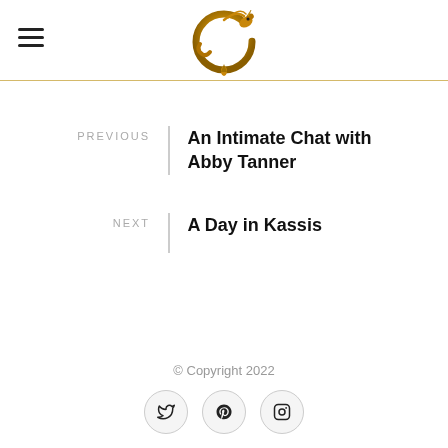[Figure (logo): Golden dragon ouroboros logo — a dragon curled in a circle biting its tail, golden/amber color]
PREVIOUS
An Intimate Chat with Abby Tanner
NEXT
A Day in Kassis
© Copyright 2022